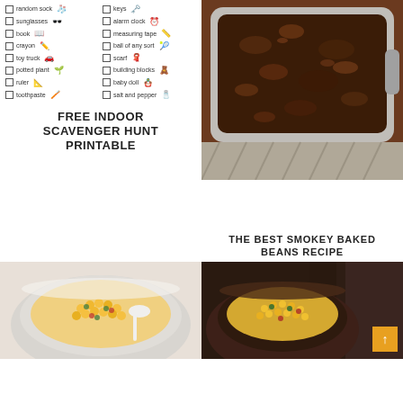[Figure (illustration): Free indoor scavenger hunt printable checklist with two columns of items: random sock, keys, sunglasses, alarm clock, book, measuring tape, crayon, ball of any sort, toy truck, scarf, potted plant, building blocks, ruler, baby doll, toothpaste, salt and pepper — each with a checkbox and small icon illustration]
FREE INDOOR SCAVENGER HUNT PRINTABLE
[Figure (photo): Close-up overhead photo of smokey baked beans in a white/grey ceramic baking dish, sitting on a plaid cloth napkin on a wooden surface]
THE BEST SMOKEY BAKED BEANS RECIPE
[Figure (photo): Close-up photo of corn salad with vegetables in a white bowl with a white spoon, viewed from above/side angle]
[Figure (photo): Close-up photo of corn salad in a dark bowl with a dark cloth background]